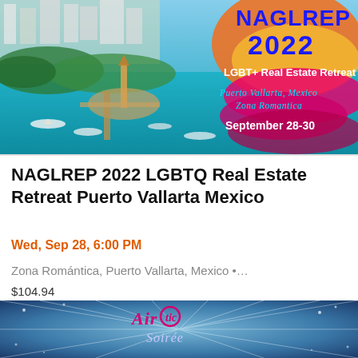[Figure (photo): Aerial photo of Puerto Vallarta coastline with turquoise water and boats, overlaid with NAGLREP 2022 LGBT+ Real Estate Retreat event branding. Text on overlay reads: NAGLREP 2022, LGBT+ Real Estate Retreat, Puerto Vallarta Mexico Zona Romantica, September 28-30.]
NAGLREP 2022 LGBTQ Real Estate Retreat Puerto Vallarta Mexico
Wed, Sep 28, 6:00 PM
Zona Romántica, Puerto Vallarta, Mexico •…
$104.94
[Figure (photo): Partial view of a second event banner showing 'AirOtic Soirée' text with a sparkly blue background.]